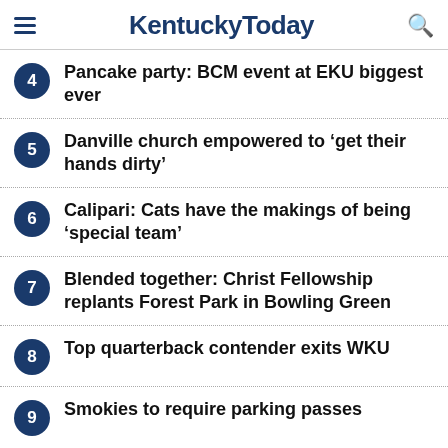KentuckyToday
4 Pancake party: BCM event at EKU biggest ever
5 Danville church empowered to ‘get their hands dirty’
6 Calipari: Cats have the makings of being 'special team'
7 Blended together: Christ Fellowship replants Forest Park in Bowling Green
8 Top quarterback contender exits WKU
9 Smokies to require parking passes